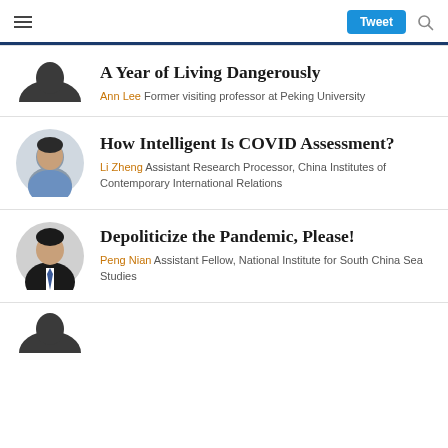Tweet [search icon]
A Year of Living Dangerously
Ann Lee Former visiting professor at Peking University
How Intelligent Is COVID Assessment?
Li Zheng Assistant Research Processor, China Institutes of Contemporary International Relations
Depoliticize the Pandemic, Please!
Peng Nian Assistant Fellow, National Institute for South China Sea Studies